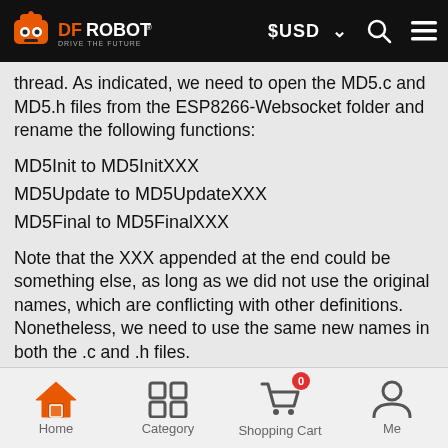DFRobot - Drive the Future | $USD | Search | Menu
thread. As indicated, we need to open the MD5.c and MD5.h files from the ESP8266-Websocket folder and rename the following functions:
MD5Init to MD5InitXXX
MD5Update to MD5UpdateXXX
MD5Final to MD5FinalXXX
Note that the XXX appended at the end could be something else, as long as we did not use the original names, which are conflicting with other definitions. Nonetheless, we need to use the same new names in both the .c and .h files.
Finally, after saving the changes and opening the Arduino IDE, we should be able to find the examples from this library, as shown in figure 2.
Home | Category | Shopping Cart (0) | Me